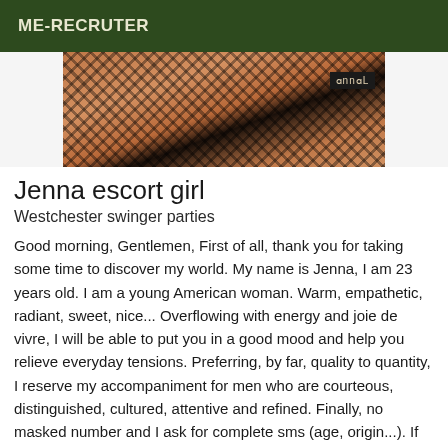ME-RECRUTER
[Figure (photo): Partial photo of a person wearing a black fishnet outfit, with a Chanel logo visible in the upper right corner of the image.]
Jenna escort girl
Westchester swinger parties
Good morning, Gentlemen, First of all, thank you for taking some time to discover my world. My name is Jenna, I am 23 years old. I am a young American woman. Warm, empathetic, radiant, sweet, nice... Overflowing with energy and joie de vivre, I will be able to put you in a good mood and help you relieve everyday tensions. Preferring, by far, quality to quantity, I reserve my accompaniment for men who are courteous, distinguished, cultured, attentive and refined. Finally, no masked number and I ask for complete sms (age, origin...). If you like elegance, anonymity and absolute discretion, then I am made for you... Total confidentiality